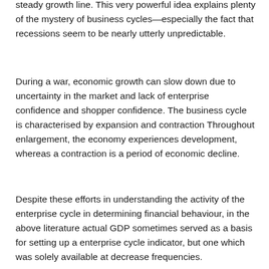steady growth line. This very powerful idea explains plenty of the mystery of business cycles—especially the fact that recessions seem to be nearly utterly unpredictable.
During a war, economic growth can slow down due to uncertainty in the market and lack of enterprise confidence and shopper confidence. The business cycle is characterised by expansion and contraction Throughout enlargement, the economy experiences development, whereas a contraction is a period of economic decline.
Despite these efforts in understanding the activity of the enterprise cycle in determining financial behaviour, in the above literature actual GDP sometimes served as a basis for setting up a enterprise cycle indicator, but one which was solely available at decrease frequencies.